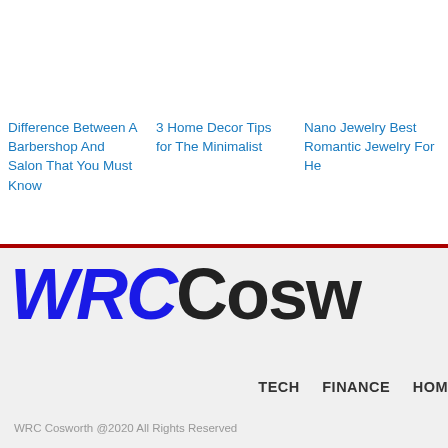Difference Between A Barbershop And Salon That You Must Know
3 Home Decor Tips for The Minimalist
Nano Jewelry Best Romantic Jewelry For He
[Figure (logo): WRC Cosworth logo with WRC in bold blue italic and Cosw in bold black]
TECH   FINANCE   HOM
WRC Cosworth @2020 All Rights Reserved